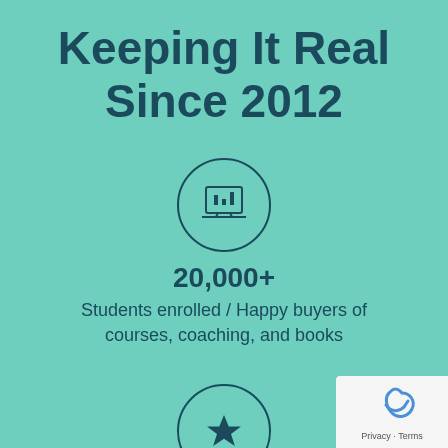Keeping It Real Since 2012
[Figure (infographic): Circle icon with a laptop/presentation screen symbol representing online courses]
20,000+
Students enrolled / Happy buyers of courses, coaching, and books
[Figure (infographic): Circle icon with a star symbol]
1 Million +